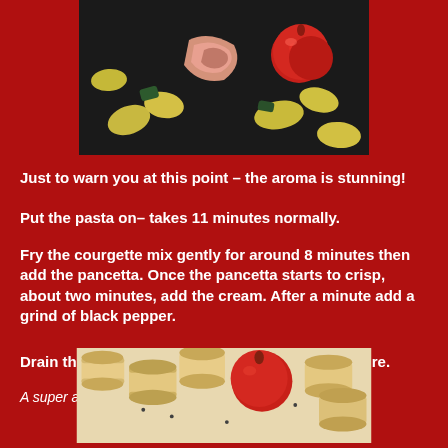[Figure (photo): Close-up of raw pancetta, yellow squash/courgette chunks, and red cherry tomatoes in a dark pan]
Just to warn you at this point – the aroma is stunning!
Put the pasta on– takes 11 minutes normally.
Fry the courgette mix gently for around 8 minutes then add the pancetta. Once the pancetta starts to crisp, about two minutes, add the cream. After a minute add a grind of black pepper.
Drain the pasta and spoon over the creamy mixture.
A super autumnal dish.
[Figure (photo): Close-up of cooked rigatoni pasta with a red cherry tomato and herbs in a creamy sauce]